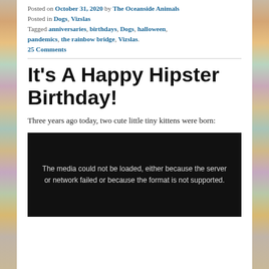Posted on October 31, 2020 by The Oceanside Animals
Posted in Dogs, Vizslas
Tagged anniversaries, birthdays, Dogs, halloween, pandemics, the rainbow bridge, Vizslas.
25 Comments
It's A Happy Hipster Birthday!
Three years ago today, two cute little tiny kittens were born:
[Figure (other): Black media player with error message: The media could not be loaded, either because the server or network failed or because the format is not supported.]